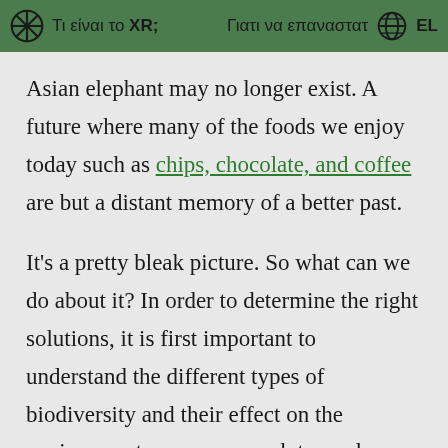Τι είναι το XR;   Γιατι να επαναστατ EL
Asian elephant may no longer exist. A future where many of the foods we enjoy today such as chips, chocolate, and coffee are but a distant memory of a better past.
It's a pretty bleak picture. So what can we do about it? In order to determine the right solutions, it is first important to understand the different types of biodiversity and their effect on the environment so we can work towards preserving them.